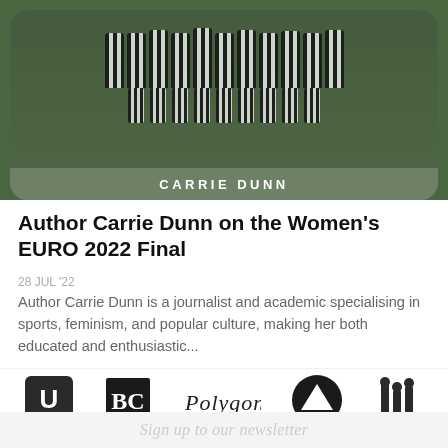[Figure (photo): Black and white team photo of women in striped football jerseys with 'CARRIE DUNN' text overlay at bottom, set against a green grass background]
Author Carrie Dunn on the Women's EURO 2022 Final
28 JUL '22
Author Carrie Dunn is a journalist and academic specialising in sports, feminism, and popular culture, making her both educated and enthusiastic...
[Figure (logo): Five logos displayed in a row: Uncut/vinyl record logo, BC logo, Polygon script logo, Arena Sport logo, and a chess pieces / figures logo]
Sign up to our newsletter